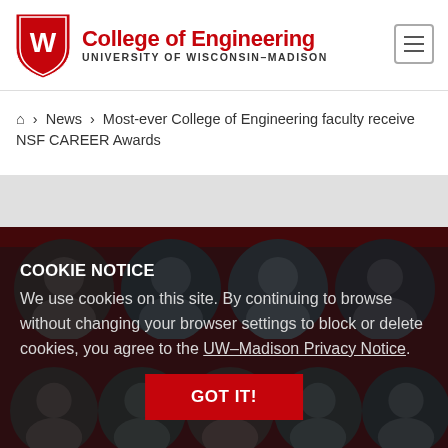[Figure (logo): University of Wisconsin-Madison College of Engineering shield logo]
College of Engineering UNIVERSITY OF WISCONSIN-MADISON
⌂ > News > Most-ever College of Engineering faculty receive NSF CAREER Awards
[Figure (photo): Group of faculty headshots in circular frames on dark red background: top row of 4 and bottom row showing Po-Ling Loh, Jacob Notbohm, Dan Wright, Zongfu Yu, Victor Zavala]
COOKIE NOTICE
We use cookies on this site. By continuing to browse without changing your browser settings to block or delete cookies, you agree to the UW–Madison Privacy Notice.
GOT IT!